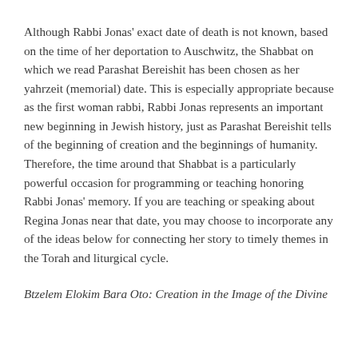Although Rabbi Jonas' exact date of death is not known, based on the time of her deportation to Auschwitz, the Shabbat on which we read Parashat Bereishit has been chosen as her yahrzeit (memorial) date. This is especially appropriate because as the first woman rabbi, Rabbi Jonas represents an important new beginning in Jewish history, just as Parashat Bereishit tells of the beginning of creation and the beginnings of humanity. Therefore, the time around that Shabbat is a particularly powerful occasion for programming or teaching honoring Rabbi Jonas' memory. If you are teaching or speaking about Regina Jonas near that date, you may choose to incorporate any of the ideas below for connecting her story to timely themes in the Torah and liturgical cycle.
Btzelem Elokim Bara Oto: Creation in the Image of the Divine